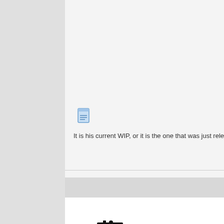It is his current WIP, or it is the one that was just released on USLW
March 7th, 2009,   05:12 PM
[Figure (photo): Southern Pacific steam locomotive illustration]
zues
Night owl Railroader
[Figure (infographic): Trainz version compatibility icons: TRS2004, TRS2006, TS2009, TS12, T:ANE-Dbc, T:ANE-Std, TRS19, TRS22, TRAINZ+]